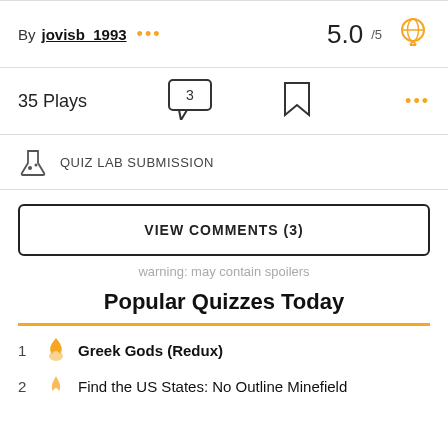By jovisb_1993 ••• 5.0 /5
35 Plays  [comment bubble: 3]  [bookmark]  •••
QUIZ LAB SUBMISSION
VIEW COMMENTS (3)
warning: may contain spoilers
Popular Quizzes Today
1  Greek Gods (Redux)
2  Find the US States: No Outline Minefield